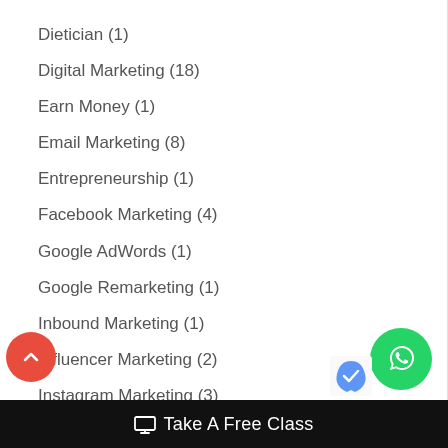Dietician (1)
Digital Marketing (18)
Earn Money (1)
Email Marketing (8)
Entrepreneurship (1)
Facebook Marketing (4)
Google AdWords (1)
Google Remarketing (1)
Inbound Marketing (1)
Influencer Marketing (2)
Instagram Marketing (3)
Take A Free Class